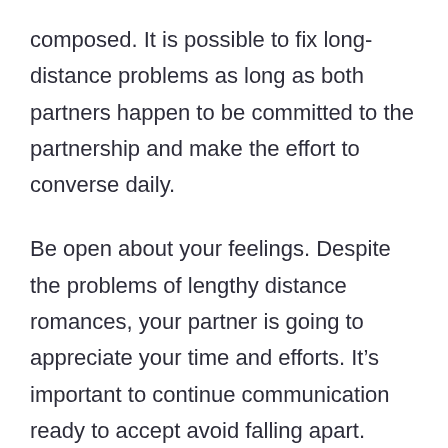composed. It is possible to fix long-distance problems as long as both partners happen to be committed to the partnership and make the effort to converse daily.
Be open about your feelings. Despite the problems of lengthy distance romances, your partner is going to appreciate your time and efforts. It’s important to continue communication ready to accept avoid falling apart. Should you be worried about being only, you can talk about your emotions with your partner to help you maintain the my. It’s important to be open with your partner about your feelings and job to